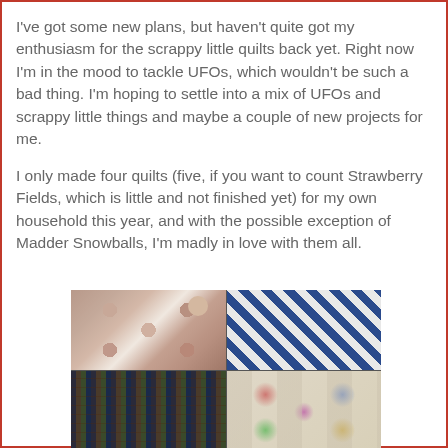I've got some new plans, but haven't quite got my enthusiasm for the scrappy little quilts back yet. Right now I'm in the mood to tackle UFOs, which wouldn't be such a bad thing. I'm hoping to settle into a mix of UFOs and scrappy little things and maybe a couple of new projects for me.
I only made four quilts (five, if you want to count Strawberry Fields, which is little and not finished yet) for my own household this year, and with the possible exception of Madder Snowballs, I'm madly in love with them all.
[Figure (photo): A 2x2 grid of four quilt photos: top-left shows a brownish/mauve octagon snowball pattern quilt with a child peeking over the edge; top-right shows a blue and white star/checker pattern quilt; bottom-left shows a dark log cabin style quilt; bottom-right shows a colorful circles/fans quilt laid out flat.]